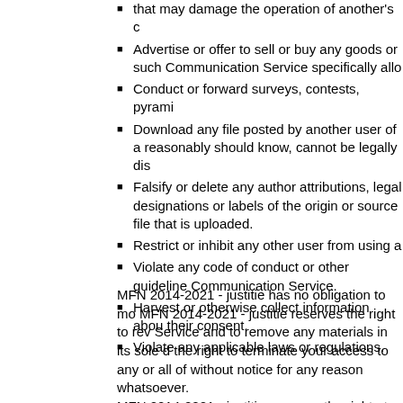that may damage the operation of another's c
Advertise or offer to sell or buy any goods or such Communication Service specifically allo
Conduct or forward surveys, contests, pyrami
Download any file posted by another user of a reasonably should know, cannot be legally dis
Falsify or delete any author attributions, legal designations or labels of the origin or source file that is uploaded.
Restrict or inhibit any other user from using a
Violate any code of conduct or other guideline Communication Service.
Harvest or otherwise collect information abou their consent.
Violate any applicable laws or regulations.
MFN 2014-2021 - justitie has no obligation to mo MFN 2014-2021 - justitie reserves the right to rev Service and to remove any materials in its sole d the right to terminate your access to any or all of without notice for any reason whatsoever. MFN 2014-2021 - justitie reserves the right at all necessary to satisfy any applicable law, regulatio to edit, refuse to post or to remove any informatio 2014-2021 - justitie's sole discretion. Always use caution when giving out any persona